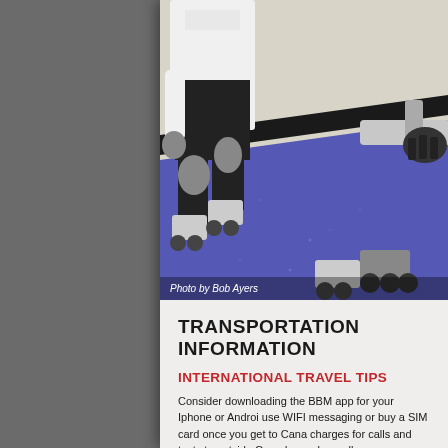[Figure (photo): Action photo of roller derby skaters on a rink with purple and beige sections, showing legs, knee pads, and roller skates mid-action]
Photo by Bob Ayers
TRANSPORTATION INFORMATION
INTERNATIONAL TRAVEL TIPS
Consider downloading the BBM app for your Iphone or Android use WIFI messaging or buy a SIM card once you get to Canad charges for calls and texts to outside Canada can be really ex
Check with your credit card company to see if you have Trave